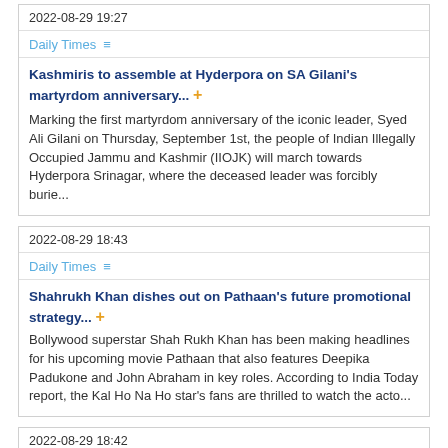2022-08-29 19:27
Daily Times
Kashmiris to assemble at Hyderpora on SA Gilani's martyrdom anniversary... +
Marking the first martyrdom anniversary of the iconic leader, Syed Ali Gilani on Thursday, September 1st, the people of Indian Illegally Occupied Jammu and Kashmir (IIOJK) will march towards Hyderpora Srinagar, where the deceased leader was forcibly burie...
2022-08-29 18:43
Daily Times
Shahrukh Khan dishes out on Pathaan's future promotional strategy... +
Bollywood superstar Shah Rukh Khan has been making headlines for his upcoming movie Pathaan that also features Deepika Padukone and John Abraham in key roles. According to India Today report, the Kal Ho Na Ho star's fans are thrilled to watch the acto...
2022-08-29 18:42